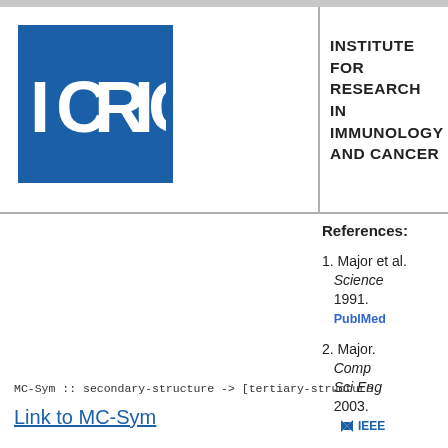[Figure (logo): IRIC (Institute for Research in Immunology and Cancer) logo with blue background and white IRIC text, alongside Université de Montréal logo]
INSTITUTE FOR RESEARCH IN IMMUNOLOGY AND CANCER
References:
1. Major et al. Science 1991. PubMed
2. Major. Comp Sci Eng 2003. IEEE
MC-Sym :: secondary-structure -> [tertiary-structure
Link to MC-Sym